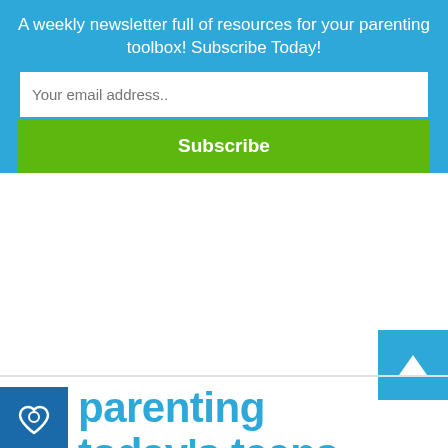A weekly newsletter full of resources for your parenting toolbox! Subscribe Today!
Your email address..
Subscribe
[Figure (logo): Parenting Today's Teens logo with blue square icon containing a heart and the text 'parenting today's teens']